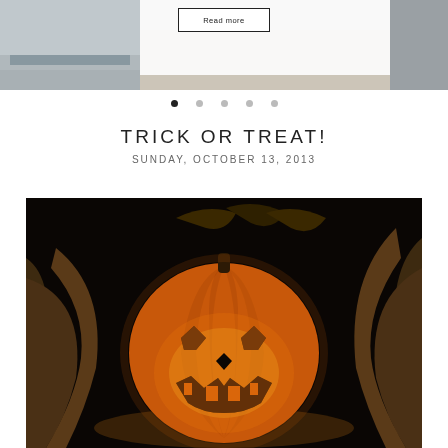[Figure (photo): Top photo showing a house exterior with gravel/paving, partially visible, with a white overlay box containing a 'Read more' button]
Read more
[Figure (other): Navigation dots row: five dots, first filled/dark, remaining lighter grey]
TRICK OR TREAT!
SUNDAY, OCTOBER 13, 2013
[Figure (photo): Dark photograph of a carved jack-o-lantern pumpkin glowing orange from inside, surrounded by dried corn husks and autumn leaves against a black background]